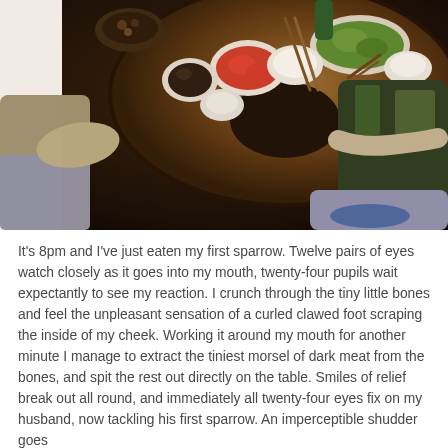[Figure (photo): Overhead/angled photograph of people sitting around a round wooden table with various dishes of food including red peppers, green vegetables, white bowls, and chopsticks. Taken in a dim restaurant or home setting.]
It's 8pm and I've just eaten my first sparrow. Twelve pairs of eyes watch closely as it goes into my mouth, twenty-four pupils wait expectantly to see my reaction. I crunch through the tiny little bones and feel the unpleasant sensation of a curled clawed foot scraping the inside of my cheek. Working it around my mouth for another minute I manage to extract the tiniest morsel of dark meat from the bones, and spit the rest out directly on the table. Smiles of relief break out all round, and immediately all twenty-four eyes fix on my husband, now tackling his first sparrow. An imperceptible shudder goes